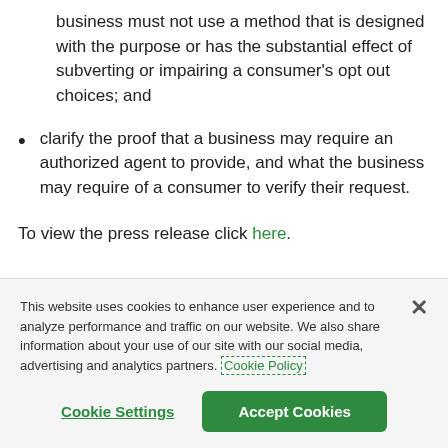business must not use a method that is designed with the purpose or has the substantial effect of subverting or impairing a consumer's opt out choices; and
clarify the proof that a business may require an authorized agent to provide, and what the business may require of a consumer to verify their request.
To view the press release click here.
This website uses cookies to enhance user experience and to analyze performance and traffic on our website. We also share information about your use of our site with our social media, advertising and analytics partners. Cookie Policy
Cookie Settings
Accept Cookies